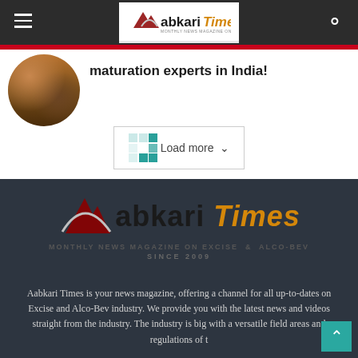Aabkari Times
maturation experts in India!
[Figure (screenshot): Load more button with teal spinner/loading grid icon and dropdown arrow]
[Figure (logo): Aabkari Times logo with mountain/arrow icon. Text: Aabkari Times. Tagline: MONTHLY NEWS MAGAZINE ON EXCISE & ALCO-BEV SINCE 2009]
Aabkari Times is your news magazine, offering a channel for all up-to-dates on Excise and Alco-Bev industry. We provide you with the latest news and videos straight from the industry. The industry is big with a versatile field areas and regulations of t